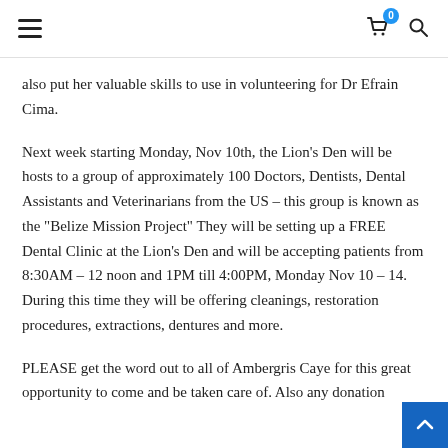[hamburger menu] [cart with badge 0] [search icon]
also put her valuable skills to use in volunteering for Dr Efrain Cima.
Next week starting Monday, Nov 10th, the Lion’s Den will be hosts to a group of approximately 100 Doctors, Dentists, Dental Assistants and Veterinarians from the US – this group is known as the “Belize Mission Project” They will be setting up a FREE Dental Clinic at the Lion’s Den and will be accepting patients from 8:30AM – 12 noon and 1PM till 4:00PM, Monday Nov 10 – 14. During this time they will be offering cleanings, restoration procedures, extractions, dentures and more.
PLEASE get the word out to all of Ambergris Caye for this great opportunity to come and be taken care of. Also any donation